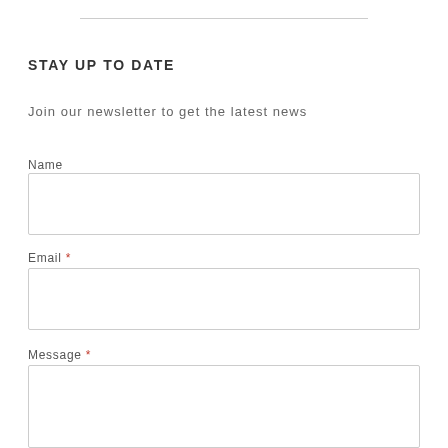STAY UP TO DATE
Join our newsletter to get the latest news
Name
Email *
Message *